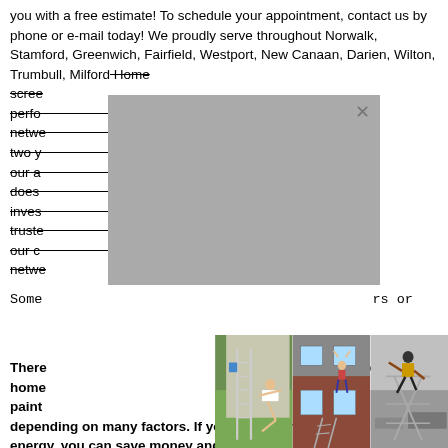you with a free estimate! To schedule your appointment, contact us by phone or e-mail today! We proudly serve throughout Norwalk, Stamford, Greenwich, Fairfield, Westport, New Canaan, Darien, Wilton, Trumbull, Milford...
Home... screen... perfo... our netwe... ery two y... t to our a... vork does... can inves... f truste... neet our c... r netwe...
[Figure (photo): Three photos of people in dangerous situations on ladders near houses, partially covered by a gray modal overlay with an X close button. Left photo: person flying off a ladder near a house. Center photo: person hanging from a window on a brick house with a ladder below. Right photo: person falling near a ladder in a workshop/garage setting.]
Some... rs or
There... e a toll o... home... paint... vary depending on many factors. If you have the time and energy, you can save money and paint a house yourself, and you just need to factor in the cost of paint and